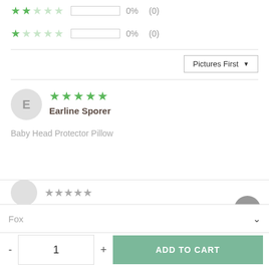[Figure (other): 2-star rating row: 2 filled stars, 3 empty stars, empty bar, 0%, (0)]
[Figure (other): 1-star rating row: 1 filled star, 4 empty stars, empty bar, 0%, (0)]
[Figure (other): Pictures First dropdown selector]
E
[Figure (other): 5-star rating (5 filled green stars) for reviewer Earline Sporer]
Earline Sporer
Baby Head Protector Pillow
[Figure (other): Scroll-to-top circular button with upward arrow]
[Figure (other): Next reviewer avatar and star rating peek at bottom]
Fox
1
ADD TO CART